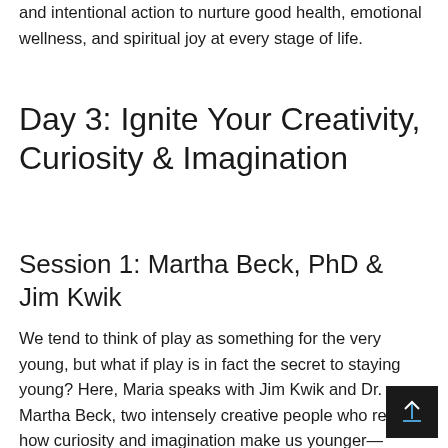and intentional action to nurture good health, emotional wellness, and spiritual joy at every stage of life.
Day 3: Ignite Your Creativity, Curiosity & Imagination
Session 1: Martha Beck, PhD & Jim Kwik
We tend to think of play as something for the very young, but what if play is in fact the secret to staying young? Here, Maria speaks with Jim Kwik and Dr. Martha Beck, two intensely creative people who reveal how curiosity and imagination make us younger—mentally and even physically. Learn why